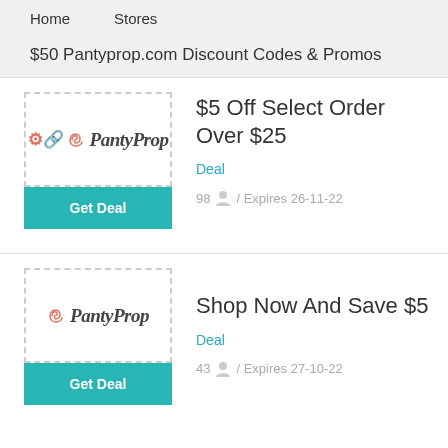Home    Stores
$50 Pantyprop.com Discount Codes & Promos
[Figure (logo): PantyProp logo with dashed border box]
$5 Off Select Order Over $25
Deal
98 / Expires 26-11-22
[Figure (logo): PantyProp logo with dashed border box second card]
Shop Now And Save $5
Deal
43 / Expires 27-10-22